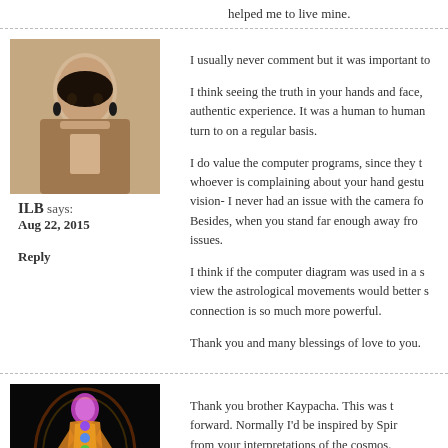helped me to live mine.
[Figure (photo): Avatar photo of ILB, a woman with dark hair and earrings]
ILB says:
Aug 22, 2015
Reply
I usually never comment but it was important to...
I think seeing the truth in your hands and face, authentic experience. It was a human to human turn to on a regular basis.
I do value the computer programs, since they t... whoever is complaining about your hand gestu... vision- I never had an issue with the camera fo... Besides, when you stand far enough away from issues.
I think if the computer diagram was used in a s... view the astrological movements would better s... connection is so much more powerful.
Thank you and many blessings of love to you.
[Figure (photo): Avatar image of a glowing human figure silhouette with chakra colors on black background]
ANTOINETTE says:
Aug 22, 2015
Reply
Thank you brother Kaypacha. This was t... forward. Normally I'd be inspired by Spir... from your interpretations of the cosmos. inappropriate for community shares.
Trusting that you will Follow Your Heart,n... back' to the personalized natural presen...